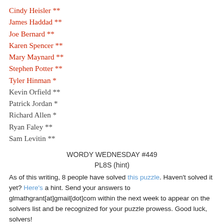Cindy Heisler **
James Haddad **
Joe Bernard **
Karen Spencer **
Mary Maynard **
Stephen Potter **
Tyler Hinman *
Kevin Orfield **
Patrick Jordan *
Richard Allen *
Ryan Faley **
Sam Levitin **
WORDY WEDNESDAY #449
PL8S (hint)
As of this writing, 8 people have solved this puzzle. Haven't solved it yet? Here's a hint. Send your answers to glmathgrant[at]gmail[dot]com within the next week to appear on the solvers list and be recognized for your puzzle prowess. Good luck, solvers!
LAST WEDNESDAY OF THE MONTH